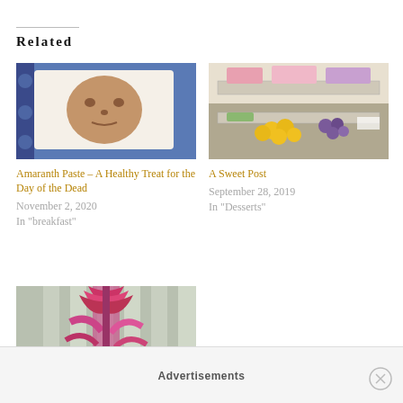Related
[Figure (photo): A skull-shaped food (amaranth paste) on a white plate with blue patterned background]
Amaranth Paste – A Healthy Treat for the Day of the Dead
November 2, 2020
In "breakfast"
[Figure (photo): A market display with colorful fruits and foods including yellow citrus and purple grapes]
A Sweet Post
September 28, 2019
In "Desserts"
[Figure (photo): A red/pink amaranth plant with feathery plumes growing outdoors]
Advertisements